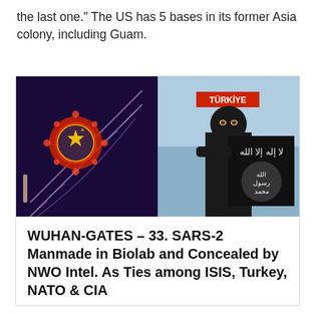the last one." The US has 5 bases in its former Asia colony, including Guam.
[Figure (photo): Composite image: left side shows a DNA strand with a virus illustration and CIA/China related emblems on dark purple background; right side shows a masked figure holding an ISIS black flag with Arabic text, with a TÜRKİYE sign visible in the background.]
WUHAN-GATES – 33. SARS-2 Manmade in Biolab and Concealed by NWO Intel. As Ties among ISIS, Turkey, NATO & CIA